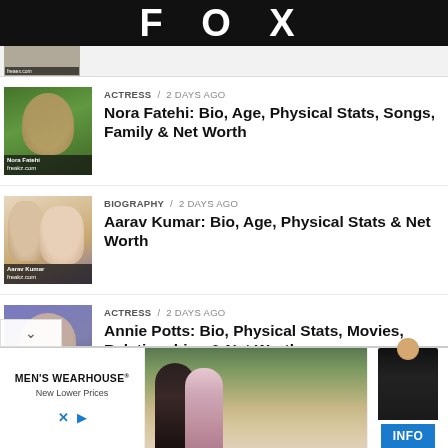FOX
[Figure (screenshot): Partial article thumbnail - partially visible at top]
ACTRESS / 2 days ago
Nora Fatehi: Bio, Age, Physical Stats, Songs, Family & Net Worth
BIOGRAPHY / 2 days ago
Aarav Kumar: Bio, Age, Physical Stats & Net Worth
ACTRESS / 2 days ago
Annie Potts: Bio, Physical Stats, Movies, Relationships & Net Worth
[Figure (screenshot): Advertisement banner for Men's Wearhouse with couple photo and INFO button. Text: MEN'S WEARHOUSE® New Lower Prices, INFO]